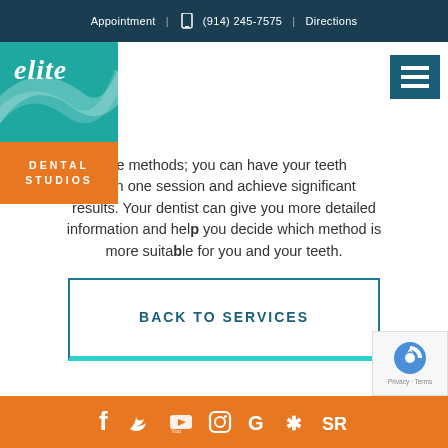Appointment | (914) 245-7575 | Directions
[Figure (logo): Elite Dental Studios logo — teal top section with 'elite' in white italic serif font and swirl design, orange bottom with 'DENTAL STUDIOS' in white bold caps]
ese methods; you can have your teeth ed in one session and achieve significant results. Your dentist can give you more detailed information and help you decide which method is more suitable for you and your teeth.
BACK TO SERVICES
[Figure (logo): reCAPTCHA badge with Google logo and Privacy/Terms text]
Social media icons: Facebook, Twitter, YouTube, Instagram, Google, Yelp, SR